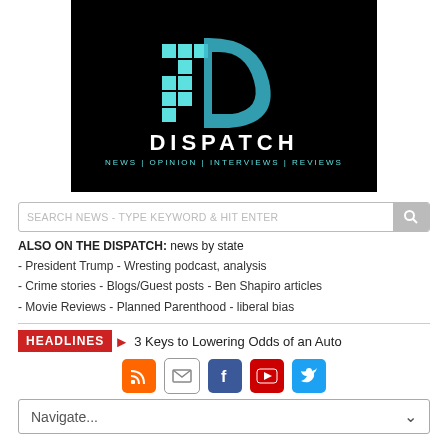[Figure (logo): Dispatch news website logo on black background with teal D letter made of squares and curve, text DISPATCH below, tagline NEWS | OPINION | INTERVIEWS | REVIEWS]
SEARCH NEWS - TYPE KEYWORD & HIT ENTER
ALSO ON THE DISPATCH: news by state
- President Trump - Wresting podcast, analysis
- Crime stories - Blogs/Guest posts - Ben Shapiro articles
- Movie Reviews - Planned Parenthood - liberal bias
HEADLINES   3 Keys to Lowering Odds of an Auto
[Figure (infographic): Social media icons row: RSS (orange), Email (grey), Facebook (blue), YouTube (red), Twitter (blue)]
Navigate...